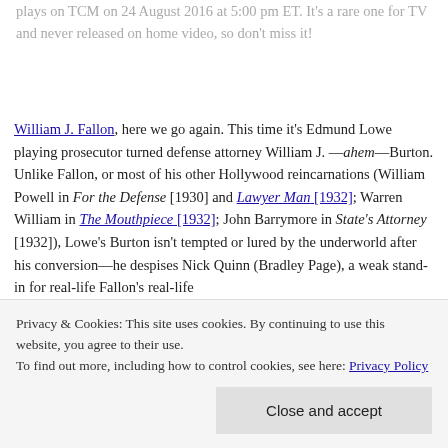plays on TCM on 24 August 2016 at 5:00 pm ET. It's a rare one for TV and never released on home video, so don't miss it!
William J. Fallon, here we go again. This time it's Edmund Lowe playing prosecutor turned defense attorney William J. —ahem—Burton. Unlike Fallon, or most of his other Hollywood reincarnations (William Powell in For the Defense [1930] and Lawyer Man [1932]; Warren William in The Mouthpiece [1932]; John Barrymore in State's Attorney [1932]), Lowe's Burton isn't tempted or lured by the underworld after his conversion—he despises Nick Quinn (Bradley Page), a weak stand-in for real-life Fallon's real-life
Privacy & Cookies: This site uses cookies. By continuing to use this website, you agree to their use.
To find out more, including how to control cookies, see here: Privacy Policy
Close and accept